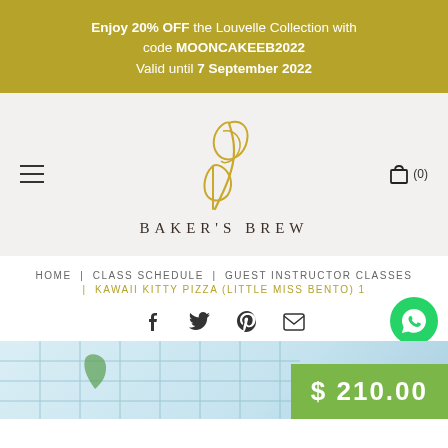Enjoy 20% OFF the Louvelle Collection with code MOONCAKEEB2022 Valid until 7 September 2022
[Figure (logo): Baker's Brew logo with golden whisk and brand name BAKER'S BREW in serif spaced caps]
HOME | CLASS SCHEDULE | GUEST INSTRUCTOR CLASSES | KAWAII KITTY PIZZA (LITTLE MISS BENTO) 1
[Figure (other): Social share icons: Facebook, Twitter, Pinterest, Email, and WhatsApp bubble]
[Figure (photo): Product image showing blue-tinted lattice/grid pattern with price tag $210.00]